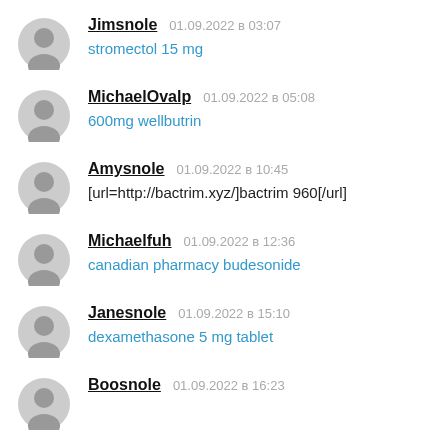Jimsnole 01.09.2022 в 03:07 stromectol 15 mg
MichaelOvalp 01.09.2022 в 05:08 600mg wellbutrin
Amysnole 01.09.2022 в 10:45 [url=http://bactrim.xyz/]bactrim 960[/url]
Michaelfuh 01.09.2022 в 12:36 canadian pharmacy budesonide
Janesnole 01.09.2022 в 15:10 dexamethasone 5 mg tablet
Boosnole 01.09.2022 в 16:23